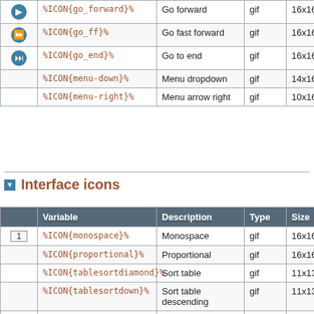|  | Variable | Description | Type | Size | Alias |
| --- | --- | --- | --- | --- | --- |
| [go_forward icon] | %ICON{go_forward}% | Go forward | gif | 16x16 |  |
| [go_ff icon] | %ICON{go_ff}% | Go fast forward | gif | 16x16 |  |
| [go_end icon] | %ICON{go_end}% | Go to end | gif | 16x16 |  |
|  | %ICON{menu-down}% | Menu dropdown | gif | 14x16 |  |
|  | %ICON{menu-right}% | Menu arrow right | gif | 10x16 |  |
Interface icons
|  | Variable | Description | Type | Size | Alias |
| --- | --- | --- | --- | --- | --- |
| 1 | %ICON{monospace}% | Monospace | gif | 16x16 |  |
|  | %ICON{proportional}% | Proportional | gif | 16x16 |  |
|  | %ICON{tablesortdiamond}% | Sort table | gif | 11x13 |  |
|  | %ICON{tablesortdown}% | Sort table descending | gif | 11x13 |  |
|  | %ICON{tablesortup}% | Sort table ascending | gif | 11x13 |  |